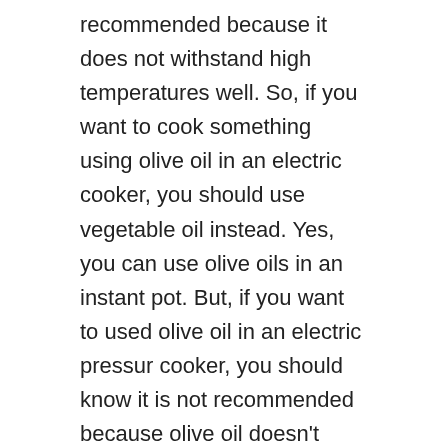recommended because it does not withstand high temperatures well. So, if you want to cook something using olive oil in an electric cooker, you should use vegetable oil instead. Yes, you can use olive oils in an instant pot. But, if you want to used olive oil in an electric pressur cooker, you should know it is not recommended because olive oil doesn't withstand high temperatures well. So, if you want to cooked something using olive oil in electric cooker, you should used vegetable oil instead.
Do You Need Oil To Sauté In Instant Pot?
No, you don't need any oil to sauté in an instant